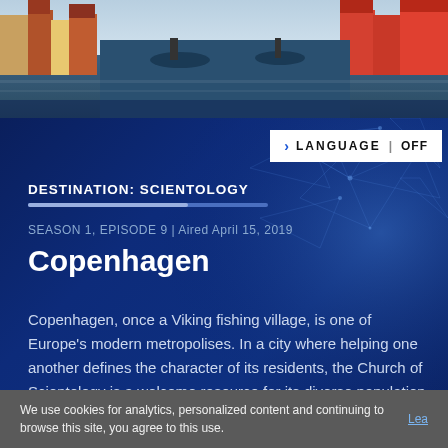[Figure (photo): Aerial view of Copenhagen canal with colorful buildings and boats]
DESTINATION: SCIENTOLOGY
SEASON 1, EPISODE 9 | Aired April 15, 2019
Copenhagen
Copenhagen, once a Viking fishing village, is one of Europe's modern metropolises. In a city where helping one another defines the character of its residents, the Church of Scientology is a welcome resource for its diverse population.
FIND YOUR NEAREST SCIENTOLOGY
We use cookies for analytics, personalized content and continuing to browse this site, you agree to this use. Lea